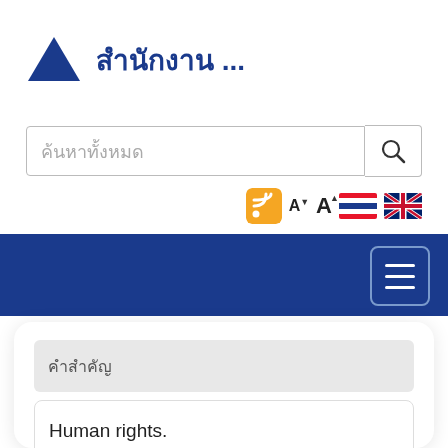[Figure (logo): Blue mountain/triangle logo icon with Thai government website header text]
ค้นหาทั้งหมด
[Figure (infographic): RSS icon, font size A controls, Thai flag, and UK flag icons row]
[Figure (infographic): Dark blue navigation bar with hamburger menu button]
คำสำคัญ
Human rights.
ค้นหา